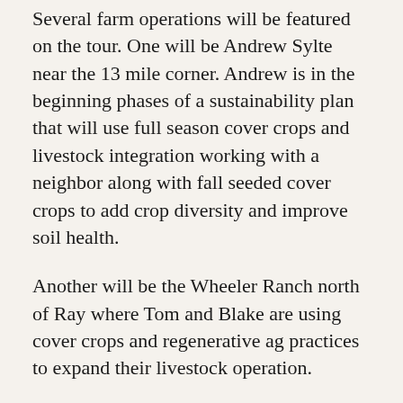Several farm operations will be featured on the tour. One will be Andrew Sylte near the 13 mile corner. Andrew is in the beginning phases of a sustainability plan that will use full season cover crops and livestock integration working with a neighbor along with fall seeded cover crops to add crop diversity and improve soil health.
Another will be the Wheeler Ranch north of Ray where Tom and Blake are using cover crops and regenerative ag practices to expand their livestock operation.
From there we'll move up into Divide County to see how several producers including Harlan and Phil Johnson, the Jacobs Ranch and Greg Bush are using cover crops and intercropping to increase diversity and build soil health.